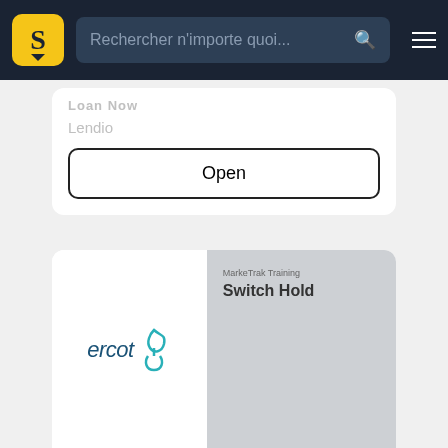Rechercher n'importe quoi...
Loan Now
Lendio
Open
[Figure (screenshot): ercot logo with teal runner icon on left; grey document thumbnail with 'MarkeTrak Training' label and 'Switch Hold' title on right]
MarkeTrak Training Switch Hold
MarkeTrak Training Switch Hold. Switch Hold. What it is: